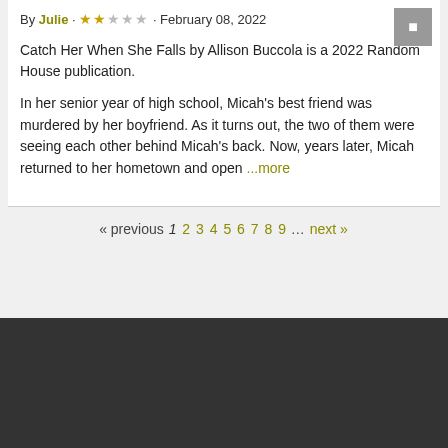By Julie · ★★☆☆☆ · February 08, 2022
Catch Her When She Falls by Allison Buccola is a 2022 Random House publication.
In her senior year of high school, Micah's best friend was murdered by her boyfriend. As it turns out, the two of them were seeing each other behind Micah's back. Now, years later, Micah returned to her hometown and open ...more
« previous 1 2 3 4 5 6 7 8 9 … next »